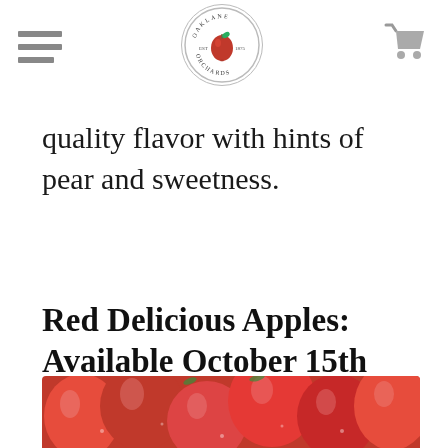[Figure (logo): Oaklane Orchards circular logo with apple illustration in center, text around the border reading OAKLANE ORCHARDS with EST and 1875]
quality flavor with hints of pear and sweetness.
Red Delicious Apples: Available October 15th
[Figure (photo): Close-up photograph of red delicious apples, showing multiple shiny red apples clustered together]